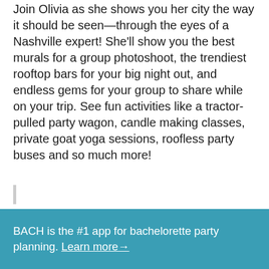Join Olivia as she shows you her city the way it should be seen—through the eyes of a Nashville expert! She'll show you the best murals for a group photoshoot, the trendiest rooftop bars for your big night out, and endless gems for your group to share while on your trip. See fun activities like a tractor-pulled party wagon, candle making classes, private goat yoga sessions, roofless party buses and so much more!
BACH is the #1 app for bachelorette party planning. Learn more →